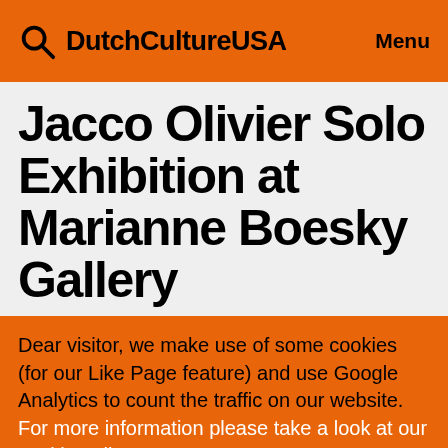DutchCultureUSA   Menu
Jacco Olivier Solo Exhibition at Marianne Boesky Gallery
Dear visitor, we make use of some cookies (for our Like Page feature) and use Google Analytics to count the traffic on our website. For more information please take a look at our cookie policy.
Close